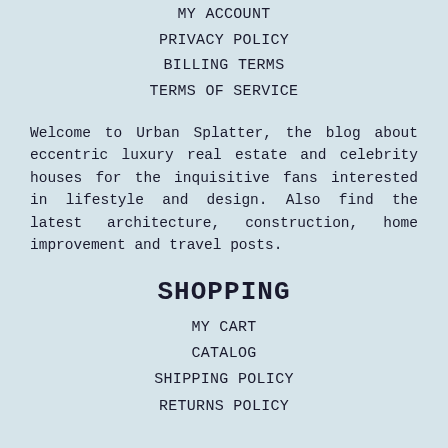MY ACCOUNT
PRIVACY POLICY
BILLING TERMS
TERMS OF SERVICE
Welcome to Urban Splatter, the blog about eccentric luxury real estate and celebrity houses for the inquisitive fans interested in lifestyle and design. Also find the latest architecture, construction, home improvement and travel posts.
SHOPPING
MY CART
CATALOG
SHIPPING POLICY
RETURNS POLICY